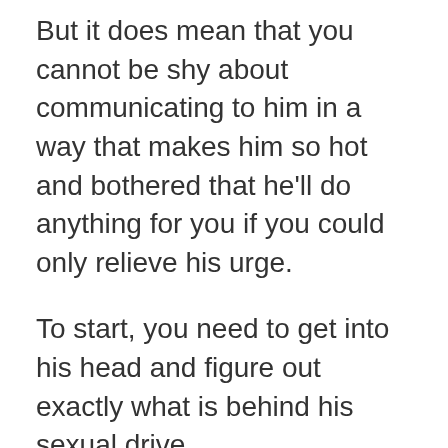But it does mean that you cannot be shy about communicating to him in a way that makes him so hot and bothered that he'll do anything for you if you could only relieve his urge.
To start, you need to get into his head and figure out exactly what is behind his sexual drive.
But let's get one thing straight: men are usually very reluctant to share this side of them with anybody – let alone you.